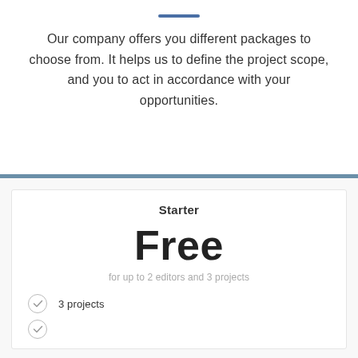Our company offers you different packages to choose from. It helps us to define the project scope, and you to act in accordance with your opportunities.
Starter
Free
for up to 2 editors and 3 projects
3 projects